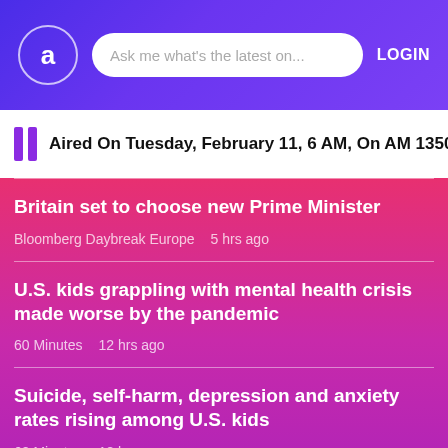a   Ask me what's the latest on...   LOGIN
Aired On Tuesday, February 11, 6 AM, On AM 1350 WEZ
Britain set to choose new Prime Minister
Bloomberg Daybreak Europe   5 hrs ago
U.S. kids grappling with mental health crisis made worse by the pandemic
60 Minutes   12 hrs ago
Suicide, self-harm, depression and anxiety rates rising among U.S. kids
60 Minutes   12 hrs ago